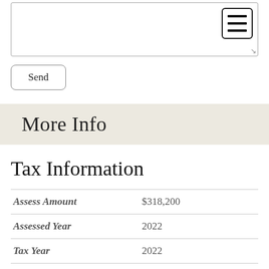[Figure (screenshot): Textarea input box with a hamburger menu icon in the top-right corner and a resize handle in the bottom-right corner]
Send
More Info
Tax Information
| Assess Amount | $318,200 |
| Assessed Year | 2022 |
| Tax Year | 2022 |
| Taxes | $5,629 |